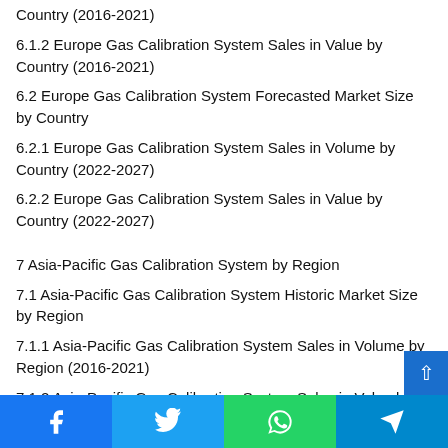Country (2016-2021)
6.1.2 Europe Gas Calibration System Sales in Value by Country (2016-2021)
6.2 Europe Gas Calibration System Forecasted Market Size by Country
6.2.1 Europe Gas Calibration System Sales in Volume by Country (2022-2027)
6.2.2 Europe Gas Calibration System Sales in Value by Country (2022-2027)
7 Asia-Pacific Gas Calibration System by Region
7.1 Asia-Pacific Gas Calibration System Historic Market Size by Region
7.1.1 Asia-Pacific Gas Calibration System Sales in Volume by Region (2016-2021)
7.1.2 Asia-Pacific Gas Calibration System Sales in Value by